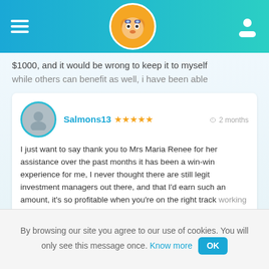[Figure (screenshot): App navigation bar with hamburger menu, fox logo, and user icon on a blue-teal gradient background]
$1000, and it would be wrong to keep it to myself while others can benefit as well, i have been able
Salmons13 ★★★★★ 2 months
I just want to say thank you to Mrs Maria Renee for her assistance over the past months it has been a win-win experience for me, I never thought there are still legit investment managers out there, and that I'd earn such an amount, it's so profitable when you're on the right track working with the right broker and your mind rest
➨ Visit FanLikes
By browsing our site you agree to our use of cookies. You will only see this message once. Know more OK